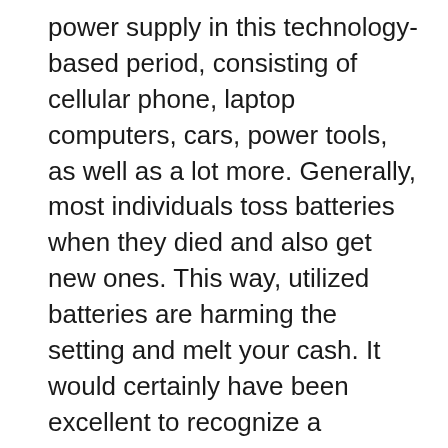power supply in this technology-based period, consisting of cellular phone, laptop computers, cars, power tools, as well as a lot more. Generally, most individuals toss batteries when they died and also get new ones. This way, utilized batteries are harming the setting and melt your cash. It would certainly have been excellent to recognize a process to make use of the batteries much longer, which can save hundreds of bucks every year. You can conserve your money in the EZ Battery Reconditioning program, which can help you utilize your batteries for a longer time. Let’s study the details with this EZ Battery Reconditioning review.